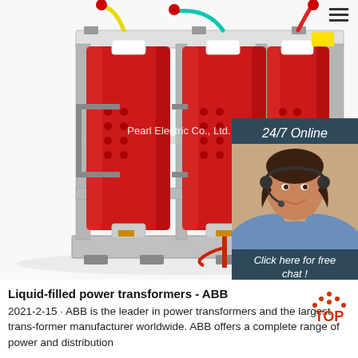[Figure (photo): A dry-type three-phase transformer with red epoxy coil windings mounted on a gray metal frame, with colored electrical leads at the top. Overlaid with 'Pearl Electric Co., Ltd' watermark in white text. A customer service chat widget appears in the upper right showing '24/7 Online', a woman with a headset, 'Click here for free chat!' and an orange QUOTATION button. A hamburger menu icon is in the top-right corner.]
Liquid-filled power transformers - ABB
2021-2-15 · ABB is the leader in power transformers and the largest trans-former manufacturer worldwide. ABB offers a complete range of power and distribution transformers, associated products and services.